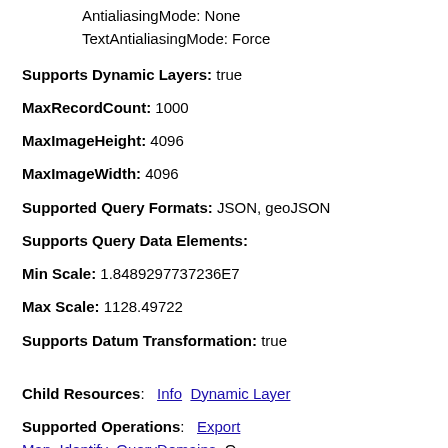AntialiasingMode: None
TextAntialiasingMode: Force
Supports Dynamic Layers: true
MaxRecordCount: 1000
MaxImageHeight: 4096
MaxImageWidth: 4096
Supported Query Formats: JSON, geoJSON
Supports Query Data Elements:
Min Scale: 1.8489297737236E7
Max Scale: 1128.49722
Supports Datum Transformation: true
Child Resources: Info Dynamic Layer
Supported Operations: Export Map Identify QueryDomains